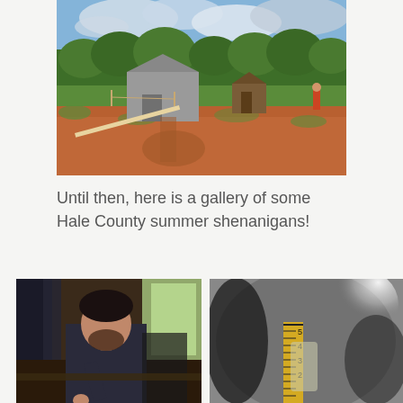[Figure (photo): Outdoor scene showing a construction or cleared lot with red clay soil and green grass, a gray metal barn/garage building and a small shed in the background, surrounded by trees under a partly cloudy blue sky. A person is visible on the right side of the field.]
Until then, here is a gallery of some Hale County summer shenanigans!
[Figure (photo): Indoor photo of a young man with dark hair and beard, wearing a dark shirt, crouching or leaning down, appearing to interact with something or someone near the floor. Window and curtains visible in background.]
[Figure (photo): Close-up photo of a measuring tape or ruler showing numbers 2, 3, 4, 5 against a blurry gray/dark background with a bright bokeh light spot visible in the upper right.]